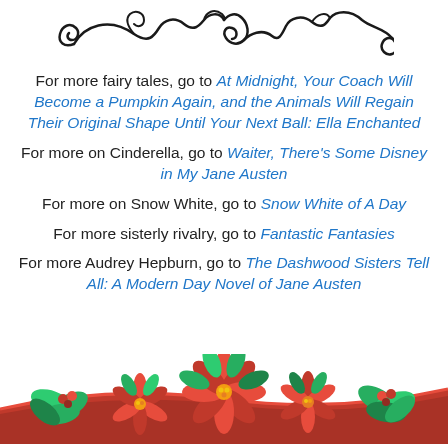[Figure (illustration): Decorative black scrollwork/flourish ornament at top of page]
For more fairy tales, go to At Midnight, Your Coach Will Become a Pumpkin Again, and the Animals Will Regain Their Original Shape Until Your Next Ball: Ella Enchanted
For more on Cinderella, go to Waiter, There's Some Disney in My Jane Austen
For more on Snow White, go to Snow White of A Day
For more sisterly rivalry, go to Fantastic Fantasies
For more Audrey Hepburn, go to The Dashwood Sisters Tell All: A Modern Day Novel of Jane Austen
[Figure (illustration): Decorative holiday/Christmas poinsettia and holly arrangement at bottom of page]